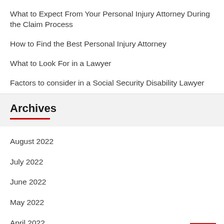What to Expect From Your Personal Injury Attorney During the Claim Process
How to Find the Best Personal Injury Attorney
What to Look For in a Lawyer
Factors to consider in a Social Security Disability Lawyer
Archives
August 2022
July 2022
June 2022
May 2022
April 2022
March 2022